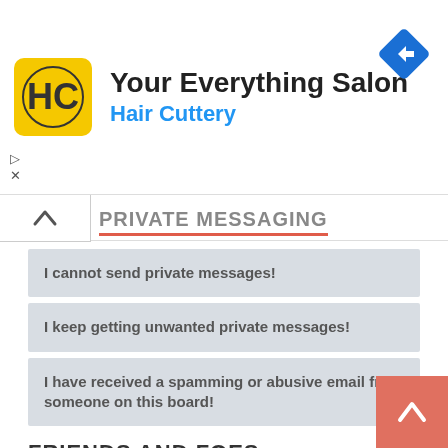[Figure (other): Hair Cuttery advertisement banner with logo, title 'Your Everything Salon', subtitle 'Hair Cuttery', and a blue navigation arrow icon]
PRIVATE MESSAGING (partially visible)
I cannot send private messages!
I keep getting unwanted private messages!
I have received a spamming or abusive email from someone on this board!
FRIENDS AND FOES
What are my Friends and Foes lists?
How can I add / remove users to my Friends or Foes list?